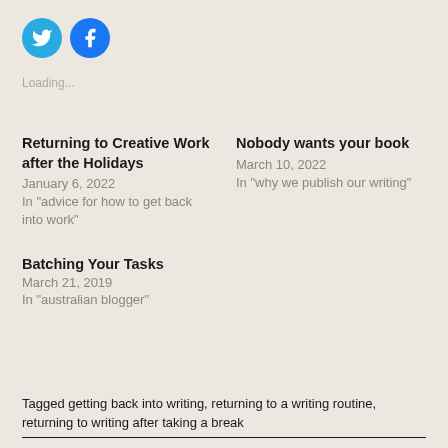[Figure (infographic): Two circular social media share buttons: Twitter (blue bird icon) and Facebook (blue F icon)]
Loading...
Returning to Creative Work after the Holidays
January 6, 2022
In "advice for how to get back into work"
Nobody wants your book
March 10, 2022
In "why we publish our writing"
Batching Your Tasks
March 21, 2019
In "australian blogger"
Tagged getting back into writing, returning to a writing routine, returning to writing after taking a break